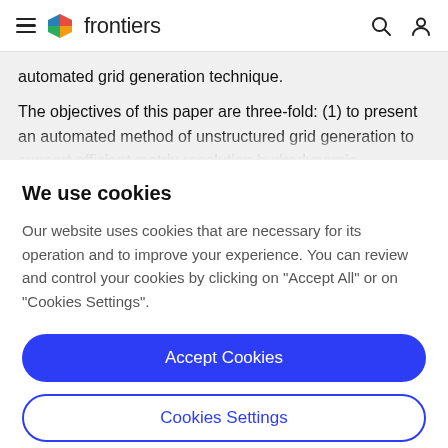frontiers
automated grid generation technique.
The objectives of this paper are three-fold: (1) to present an automated method of unstructured grid generation to support efficient matrix resolution hydrodynamic
We use cookies
Our website uses cookies that are necessary for its operation and to improve your experience. You can review and control your cookies by clicking on "Accept All" or on "Cookies Settings".
Accept Cookies
Cookies Settings